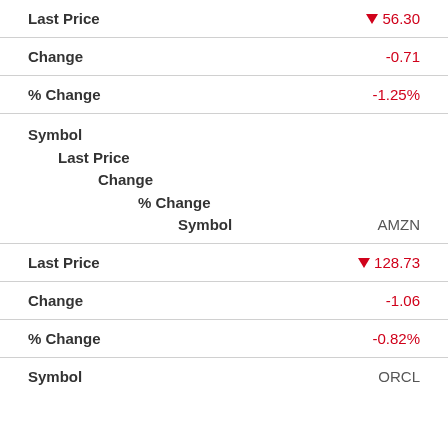| Field | Value |
| --- | --- |
| Last Price | ▼ 56.30 |
| Change | -0.71 |
| % Change | -1.25% |
| Symbol |  |
| Last Price (header) |  |
| Change (header) |  |
| % Change (header) |  |
| Symbol | AMZN |
| Last Price | ▼ 128.73 |
| Change | -1.06 |
| % Change | -0.82% |
| Symbol | ORCL |